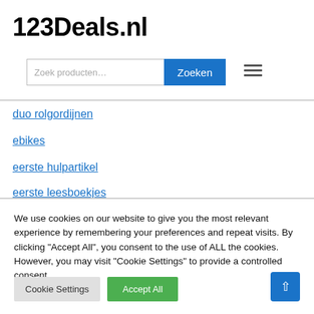123Deals.nl
[Figure (screenshot): Search bar with text input 'Zoek producten...' and blue 'Zoeken' button, plus hamburger menu icon]
duo rolgordijnen
ebikes
eerste hulpartikel
eerste leesboekjes
We use cookies on our website to give you the most relevant experience by remembering your preferences and repeat visits. By clicking "Accept All", you consent to the use of ALL the cookies. However, you may visit "Cookie Settings" to provide a controlled consent.
Cookie Settings | Accept All